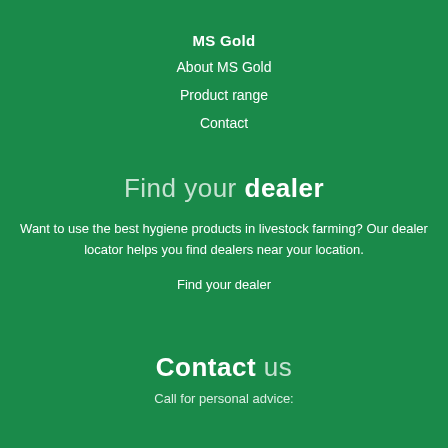MS Gold
About MS Gold
Product range
Contact
Find your dealer
Want to use the best hygiene products in livestock farming? Our dealer locator helps you find dealers near your location.
Find your dealer
Contact us
Call for personal advice: